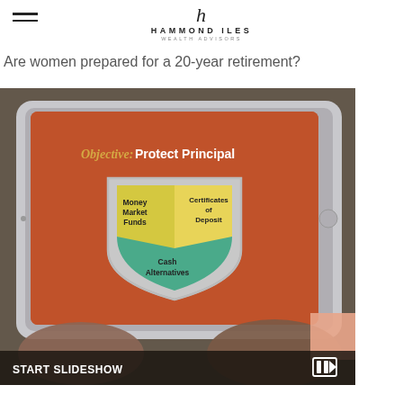Hammond Iles Wealth Advisors
Are women prepared for a 20-year retirement?
[Figure (photo): Photo of hands holding a tablet displaying a presentation slide titled 'Objective: Protect Principal' with a shield graphic divided into three sections: Money Market Funds, Certificates of Deposit, and Cash Alternatives. A 'START SLIDESHOW' bar is visible at the bottom with a play icon.]